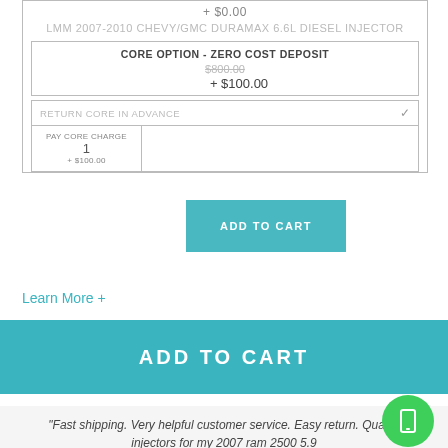+ $0.00
LMM 2007-2010 CHEVY/GMC DURAMAX 6.6L DIESEL INJECTOR
CORE OPTION - ZERO COST DEPOSIT
$800.00 + $100.00
RETURN CORE IN ADVANCE
PAY CORE CHARGE + $100.00
ADD TO CART
Learn More +
ADD TO CART
"Fast shipping. Very helpful customer service. Easy return. Quality injectors for my 2007 ram 2500 5.9